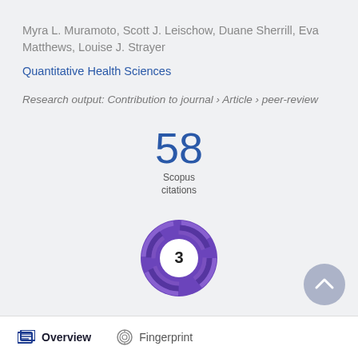Myra L. Muramoto, Scott J. Leischow, Duane Sherrill, Eva Matthews, Louise J. Strayer
Quantitative Health Sciences
Research output: Contribution to journal › Article › peer-review
[Figure (infographic): 58 Scopus citations badge]
[Figure (infographic): Altmetric donut badge showing score of 3 with purple swirl design]
Overview   Fingerprint